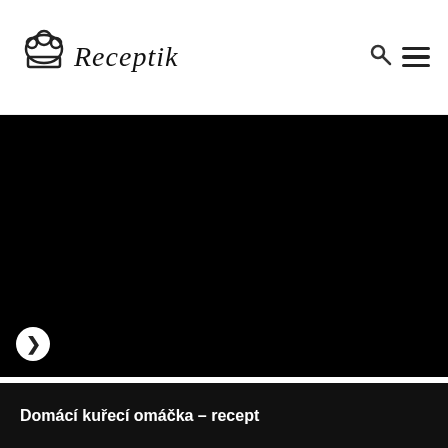Receptik
[Figure (photo): Large black rectangular image area with a white circular next/forward arrow button in the bottom-left corner]
Domácí kuřecí omáčka – recept